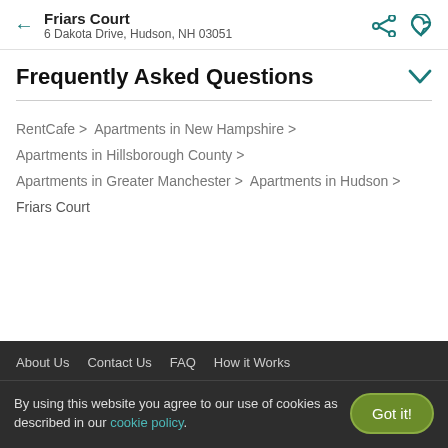Friars Court
6 Dakota Drive, Hudson, NH 03051
Frequently Asked Questions
RentCafe > Apartments in New Hampshire > Apartments in Hillsborough County > Apartments in Greater Manchester > Apartments in Hudson > Friars Court
About Us  Contact Us  FAQ  How it Works
By using this website you agree to our use of cookies as described in our cookie policy.